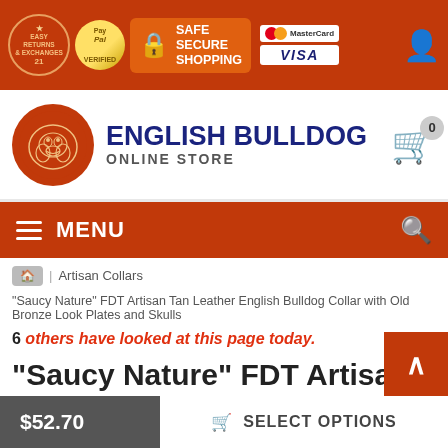Easy Returns & Exchanges | PayPal Verified | Safe Secure Shopping | MasterCard | Visa
[Figure (logo): English Bulldog Online Store logo with bulldog illustration in orange circle, store name in dark blue bold text]
MENU
Home > Artisan Collars > "Saucy Nature" FDT Artisan Tan Leather English Bulldog Collar with Old Bronze Look Plates and Skulls
6 others have looked at this page today.
"Saucy Nature" FDT Artisan Tan Leather English Bulldo
$52.70 | SELECT OPTIONS